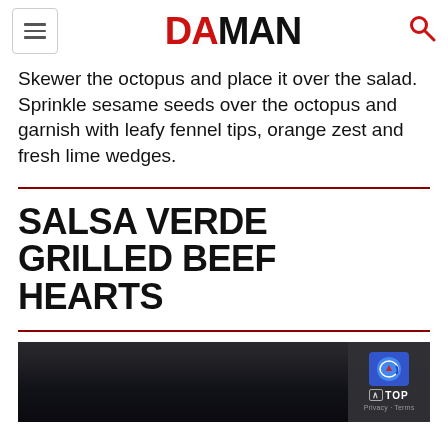DA MAN
Skewer the octopus and place it over the salad. Sprinkle sesame seeds over the octopus and garnish with leafy fennel tips, orange zest and fresh lime wedges.
SALSA VERDE GRILLED BEEF HEARTS
[Figure (photo): Dark moody photo of grilled beef hearts dish]